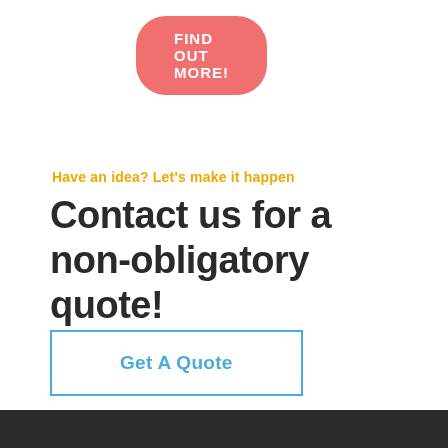[Figure (other): Pink rounded button with white uppercase text 'FIND OUT MORE!']
Have an idea? Let's make it happen
Contact us for a non-obligatory quote!
[Figure (other): Blue outlined rectangular button with text 'Get A Quote']